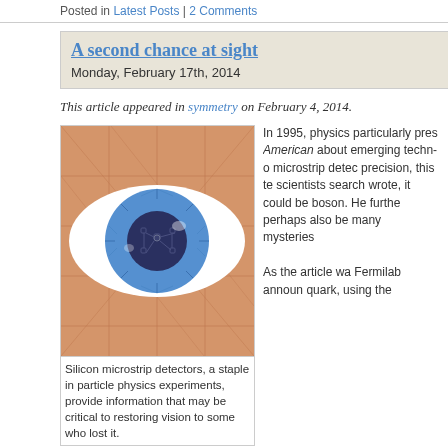Posted in Latest Posts | 2 Comments
A second chance at sight
Monday, February 17th, 2014
This article appeared in symmetry on February 4, 2014.
[Figure (illustration): Illustration of an eye with a blue iris featuring circuit board patterns in the pupil, on an orange/tan background with grid lines]
Silicon microstrip detectors, a staple in particle physics experiments, provide information that may be critical to restoring vision to some who lost it.
In 1995, physic... particularly pre... American abou... emerging techn... microstrip dete... precision, this t... scientists searc... wrote, it could b... boson. He furth... perhaps also be... many mysteries...
As the article w... Fermilab annou... quark, using the... detectors. In 2012, the world celebrated the discovery of the Higgs boson, aid... detectors at CERN. Now Litke's third premonition is also coming true: His wor... detectors and slices of retinal tissue is leading to developments in neurobiolog... people with certain kinds of damage to their vision to see.